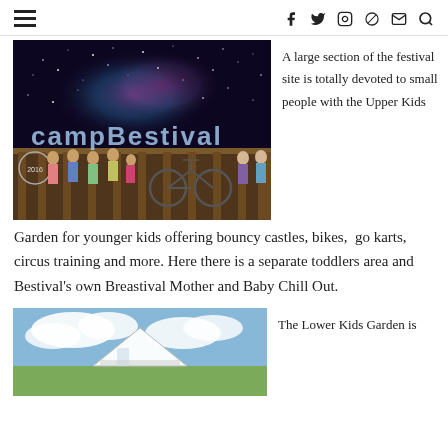≡  f  y  ⊙  ℗  ✉  🔍
[Figure (photo): Group of children standing on a wooden deck/fence in front of a galaxy/starry night sky mural. Text reading 'campbestival' visible in large letters. Year 2016 shown. Bicycles visible in the scene.]
A large section of the festival site is totally devoted to small people with the Upper Kids Garden for younger kids offering bouncy castles, bikes, go karts, circus training and more. Here there is a separate toddlers area and Bestival's own Breastival Mother and Baby Chill Out.
[Figure (photo): Blue sky with clouds, appears to be a tent or structure at a festival site.]
The Lower Kids Garden is